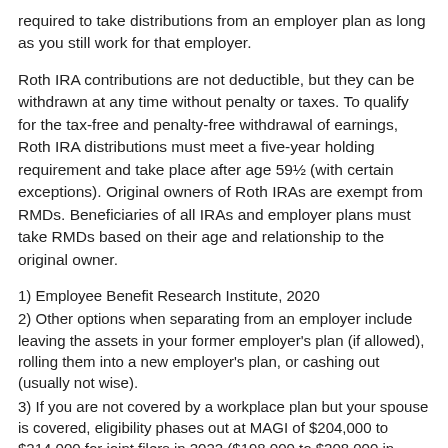required to take distributions from an employer plan as long as you still work for that employer.
Roth IRA contributions are not deductible, but they can be withdrawn at any time without penalty or taxes. To qualify for the tax-free and penalty-free withdrawal of earnings, Roth IRA distributions must meet a five-year holding requirement and take place after age 59½ (with certain exceptions). Original owners of Roth IRAs are exempt from RMDs. Beneficiaries of all IRAs and employer plans must take RMDs based on their age and relationship to the original owner.
1) Employee Benefit Research Institute, 2020
2) Other options when separating from an employer include leaving the assets in your former employer's plan (if allowed), rolling them into a new employer's plan, or cashing out (usually not wise).
3) If you are not covered by a workplace plan but your spouse is covered, eligibility phases out at MAGI of $204,000 to $214,000 for joint filers in 2022 ($198,000 to $208,000 in 2021).